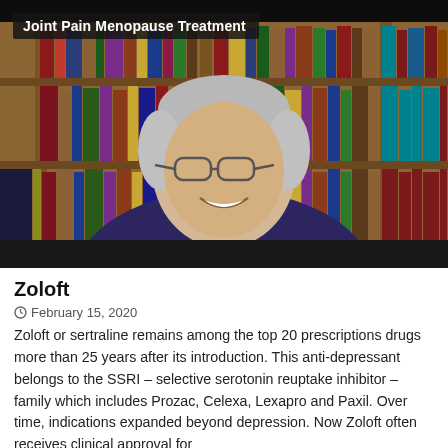[Figure (screenshot): Video screenshot of a man with gray hair and glasses smiling, seated in front of a large wooden bookshelf filled with books. A dark overlay label at the top-left reads 'Joint Pain Menopause Treatment'.]
Zoloft
February 15, 2020
Zoloft or sertraline remains among the top 20 prescriptions drugs more than 25 years after its introduction. This anti-depressant belongs to the SSRI – selective serotonin reuptake inhibitor – family which includes Prozac, Celexa, Lexapro and Paxil. Over time, indications expanded beyond depression. Now Zoloft often receives clinical approval for